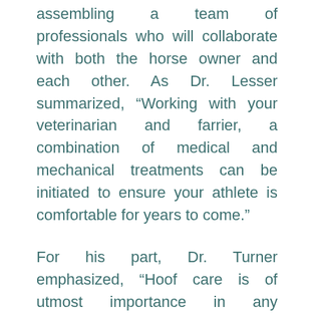assembling a team of professionals who will collaborate with both the horse owner and each other. As Dr. Lesser summarized, “Working with your veterinarian and farrier, a combination of medical and mechanical treatments can be initiated to ensure your athlete is comfortable for years to come.”
For his part, Dr. Turner emphasized, “Hoof care is of utmost importance in any management program. This will improve mechanics of the hoof, relieve stress on different aspects of the hoof, ease breakover, etc.” However, he added, “Anti-inflammatory therapy is necessary; this may be mild as phenylbutazone, firocoxib or other oral anti-